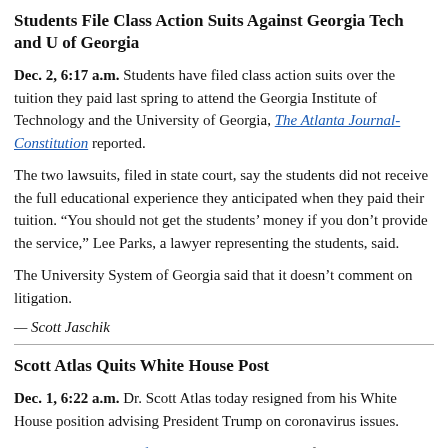Students File Class Action Suits Against Georgia Tech and U of Georgia
Dec. 2, 6:17 a.m. Students have filed class action suits over the tuition they paid last spring to attend the Georgia Institute of Technology and the University of Georgia, The Atlanta Journal-Constitution reported.
The two lawsuits, filed in state court, say the students did not receive the full educational experience they anticipated when they paid their tuition. “You should not get the students’ money if you don’t provide the service,” Lee Parks, a lawyer representing the students, said.
The University System of Georgia said that it doesn’t comment on litigation.
— Scott Jaschik
Scott Atlas Quits White House Post
Dec. 1, 6:22 a.m. Dr. Scott Atlas today resigned from his White House position advising President Trump on coronavirus issues.
He posted his letter of resignation — with praise for the president’s